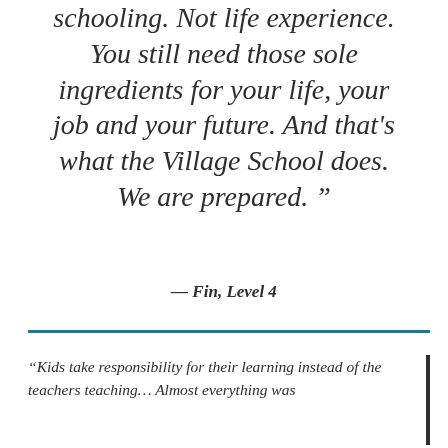schooling. Not life experience. You still need those sole ingredients for your life, your job and your future. And that's what the Village School does. We are prepared. ”
— Fin, Level 4
“Kids take responsibility for their learning instead of the teachers teaching… Almost everything was